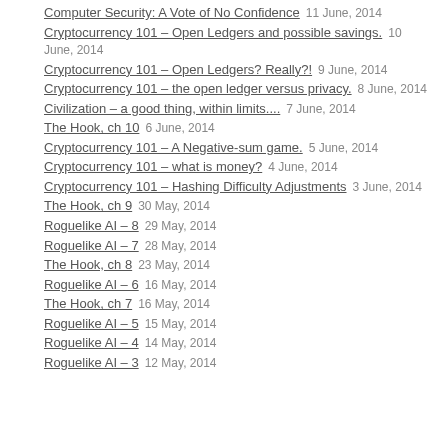Computer Security: A Vote of No Confidence   11 June, 2014
Cryptocurrency 101 – Open Ledgers and possible savings.   10 June, 2014
Cryptocurrency 101 – Open Ledgers? Really?!   9 June, 2014
Cryptocurrency 101 – the open ledger versus privacy.   8 June, 2014
Civilization – a good thing, within limits....   7 June, 2014
The Hook, ch 10   6 June, 2014
Cryptocurrency 101 – A Negative-sum game.   5 June, 2014
Cryptocurrency 101 – what is money?   4 June, 2014
Cryptocurrency 101 – Hashing Difficulty Adjustments   3 June, 2014
The Hook, ch 9   30 May, 2014
Roguelike AI – 8   29 May, 2014
Roguelike AI – 7   28 May, 2014
The Hook, ch 8   23 May, 2014
Roguelike AI – 6   16 May, 2014
The Hook, ch 7   16 May, 2014
Roguelike AI – 5   15 May, 2014
Roguelike AI – 4   14 May, 2014
Roguelike AI – 3   12 May, 2014